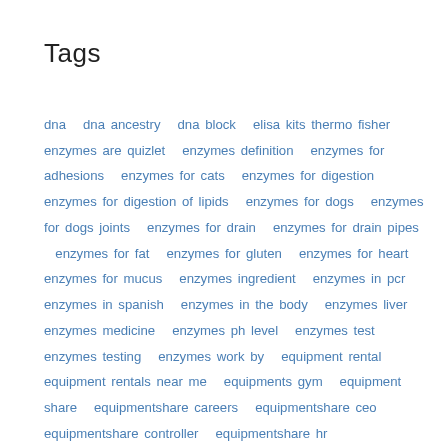Tags
dna  dna ancestry  dna block  elisa kits thermo fisher  enzymes are quizlet  enzymes definition  enzymes for adhesions  enzymes for cats  enzymes for digestion  enzymes for digestion of lipids  enzymes for dogs  enzymes for dogs joints  enzymes for drain  enzymes for drain pipes  enzymes for fat  enzymes for gluten  enzymes for heart  enzymes for mucus  enzymes ingredient  enzymes in pcr  enzymes in spanish  enzymes in the body  enzymes liver  enzymes medicine  enzymes ph level  enzymes test  enzymes testing  enzymes work by  equipment rental  equipment rentals near me  equipments gym  equipment share  equipmentshare careers  equipmentshare ceo  equipmentshare controller  equipmentshare hr  equipmentshare kc  equipmentshare us  equipmentshare website  equipment shunned by fly fishers  equipments mtg  equipments needed in building an aquarium  isotopes of antibodies  isotopes of antibodies and their